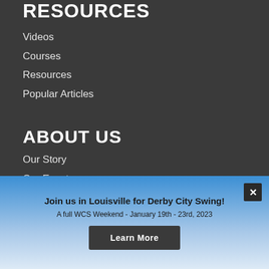RESOURCES
Videos
Courses
Resources
Popular Articles
ABOUT US
Our Story
Our Events
Join us in Louisville for Derby City Swing!
A full WCS Weekend - January 19th - 23rd, 2023
Learn More